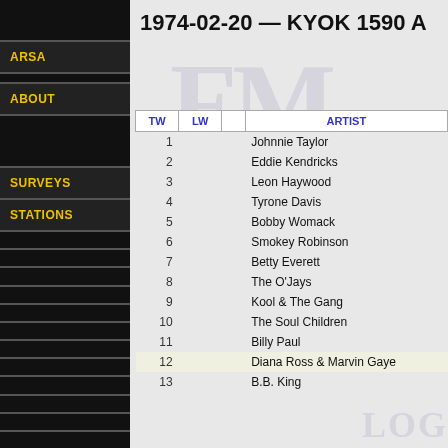1974-02-20 — KYOK 1590 A
ARSA
ABOUT
SURVEYS
STATIONS
| TW | LW |  | ARTIST |
| --- | --- | --- | --- |
| 1 |  |  | Johnnie Taylor |
| 2 |  |  | Eddie Kendricks |
| 3 |  |  | Leon Haywood |
| 4 |  |  | Tyrone Davis |
| 5 |  |  | Bobby Womack |
| 6 |  |  | Smokey Robinson |
| 7 |  |  | Betty Everett |
| 8 |  |  | The O'Jays |
| 9 |  |  | Kool & The Gang |
| 10 |  |  | The Soul Children |
| 11 |  |  | Billy Paul |
| 12 |  |  | Diana Ross & Marvin Gaye |
| 13 |  |  | B.B. King |